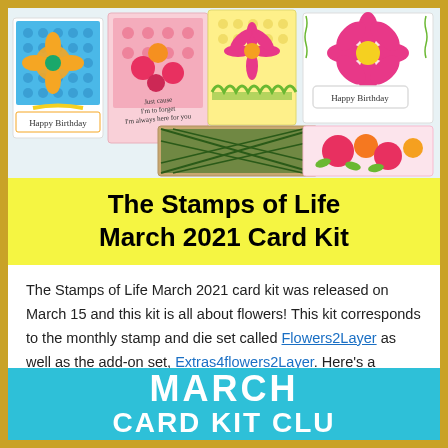[Figure (photo): Collage of colorful handmade greeting cards with floral designs, patterns including polka dots, argyle, and botanical motifs. Several cards say 'Happy Birthday'. Cards feature orange, pink, yellow, green, and blue colors with flower stamps.]
The Stamps of Life March 2021 Card Kit
The Stamps of Life March 2021 card kit was released on March 15 and this kit is all about flowers! This kit corresponds to the monthly stamp and die set called Flowers2Layer as well as the add-on set, Extras4flowers2Layer. Here's a picture of everything that is included in the March Card Kit.
[Figure (photo): Teal/cyan banner with white bold text reading 'MARCH CARD KIT CLUB' (partially visible at bottom of page)]